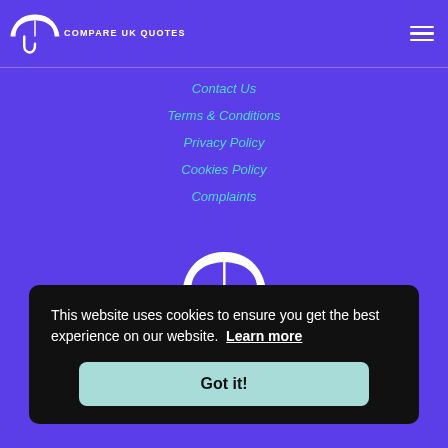COMPARE UK QUOTES
Contact Us
Terms & Conditions
Privacy Policy
Cookies Policy
Complaints
[Figure (logo): Compare UK Quotes logo with umbrella icon, centered on purple background]
This website uses cookies to ensure you get the best experience on our website. Learn more
Got it!